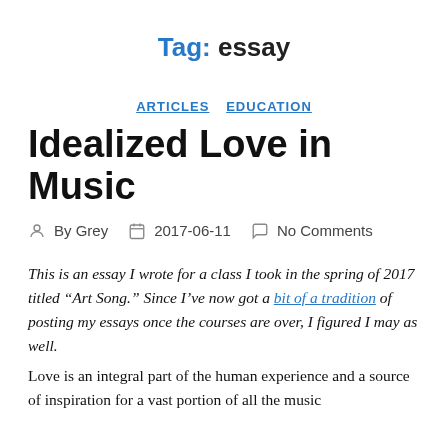Tag: essay
ARTICLES  EDUCATION
Idealized Love in Music
By Grey  2017-06-11  No Comments
This is an essay I wrote for a class I took in the spring of 2017 titled “Art Song.” Since I’ve now got a bit of a tradition of posting my essays once the courses are over, I figured I may as well.
Love is an integral part of the human experience and a source of inspiration for a vast portion of all the music